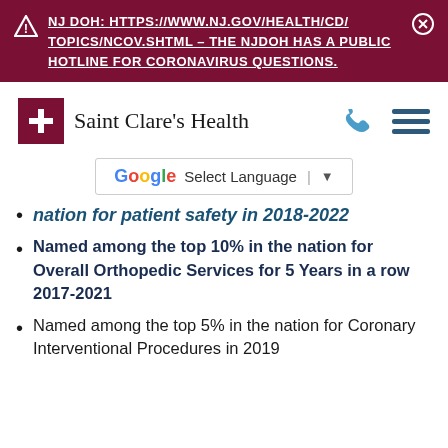⚠ NJ DOH: HTTPS://WWW.NJ.GOV/HEALTH/CD/TOPICS/NCOV.SHTML – THE NJDOH HAS A PUBLIC HOTLINE FOR CORONAVIRUS QUESTIONS. ⊗
[Figure (logo): Saint Clare's Health logo with red cross icon and serif text, plus phone and hamburger menu icons]
[Figure (screenshot): Google Translate Select Language dropdown widget]
nation for patient safety in 2018-2022 (partial/cut-off)
Named among the top 10% in the nation for Overall Orthopedic Services for 5 Years in a row 2017-2021
Named among the top 5% in the nation for Coronary Interventional Procedures in 2019